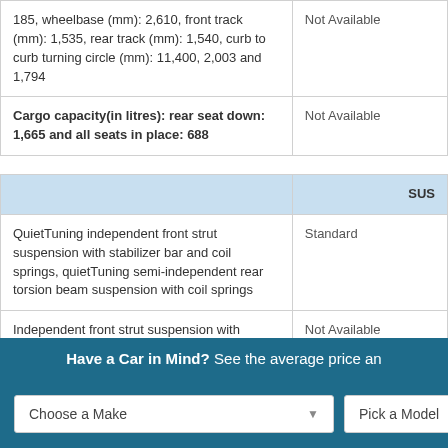| Feature | Value |
| --- | --- |
| 185, wheelbase (mm): 2,610, front track (mm): 1,535, rear track (mm): 1,540, curb to curb turning circle (mm): 11,400, 2,003 and 1,794 | Not Available |
| Cargo capacity(in litres): rear seat down: 1,665 and all seats in place: 688 | Not Available |
| SUSPENSION HEADER | SUS |
| QuietTuning independent front strut suspension with stabilizer bar and coil springs, quietTuning semi-independent rear torsion beam suspension with coil springs | Standard |
| Independent front strut suspension with stabilizer bar and coil springs, semi-independent rear torsion beam suspension | Not Available |
Have a Car in Mind? See the average price an
Choose a Make
Pick a Model